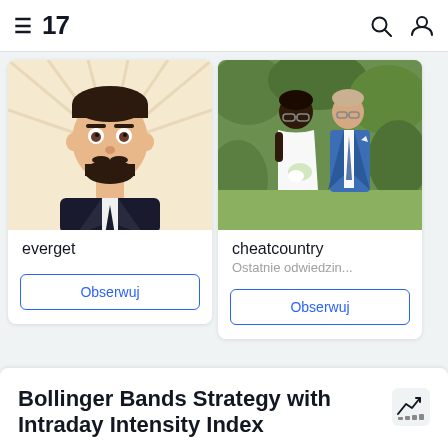TradingView navigation bar with logo, search and user icons
[Figure (illustration): Illustrated cartoon avatar of a man in a suit with a beard]
everget
Obserwuj
[Figure (photo): Photo of a couple at a wedding, woman in white dress holding flowers, man in blue suit]
cheatcountry
Ostatnie odwiedzin...
Obserwuj
Bollinger Bands Strategy with Intraday Intensity Index